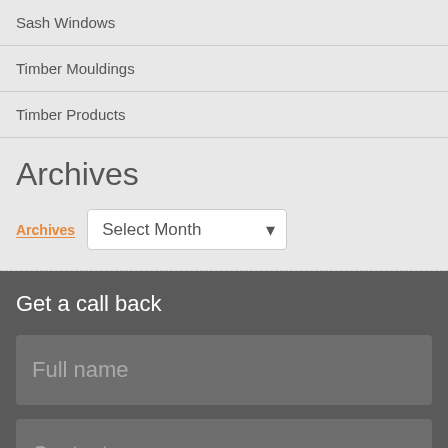Sash Windows
Timber Mouldings
Timber Products
Archives
Archives   Select Month
Get a call back
Full name
Contact no.